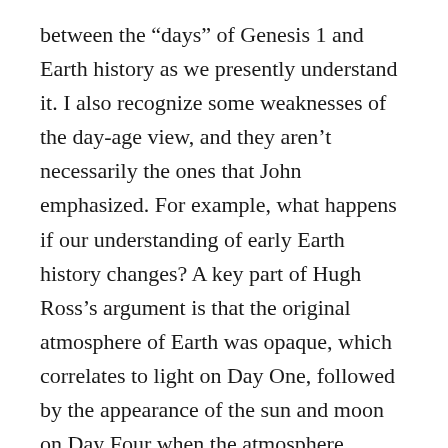between the “days” of Genesis 1 and Earth history as we presently understand it. I also recognize some weaknesses of the day-age view, and they aren’t necessarily the ones that John emphasized. For example, what happens if our understanding of early Earth history changes? A key part of Hugh Ross’s argument is that the original atmosphere of Earth was opaque, which correlates to light on Day One, followed by the appearance of the sun and moon on Day Four when the atmosphere cleared. I would prefer an interpretation that doesn’t depend so closely on scientific reconstructions. (This is a critique of young-Earth creationism as well, as it is heavily dependent on attempted scientific reconstructions).